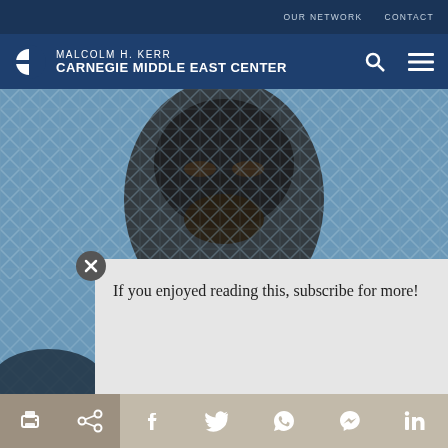OUR NETWORK   CONTACT
[Figure (logo): Malcolm H. Kerr Carnegie Middle East Center logo with Carnegie Institution half-circle icon]
[Figure (photo): Close-up blurred photo of a man's face visible through a wire mesh/cage, background shows diamond-pattern mesh]
If you enjoyed reading this, subscribe for more!
Enter email address
Submit ▶
[Figure (infographic): Bottom toolbar with social sharing icons: print, share/link, Facebook, Twitter, WhatsApp, Messenger, LinkedIn]